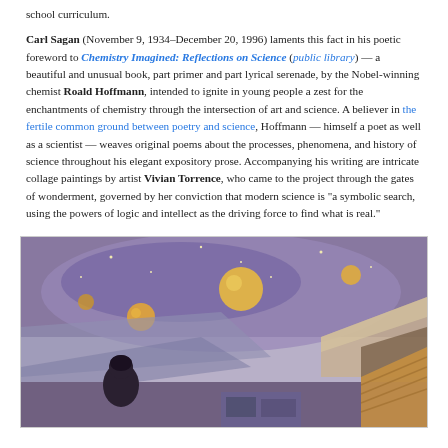school curriculum. Carl Sagan (November 9, 1934–December 20, 1996) laments this fact in his poetic foreword to Chemistry Imagined: Reflections on Science (public library) — a beautiful and unusual book, part primer and part lyrical serenade, by the Nobel-winning chemist Roald Hoffmann, intended to ignite in young people a zest for the enchantments of chemistry through the intersection of art and science. A believer in the fertile common ground between poetry and science, Hoffmann — himself a poet as well as a scientist — weaves original poems about the processes, phenomena, and history of science throughout his elegant expository prose. Accompanying his writing are intricate collage paintings by artist Vivian Torrence, who came to the project through the gates of wonderment, governed by her conviction that modern science is "a symbolic search, using the powers of logic and intellect as the driving force to find what is real."
[Figure (illustration): A collage painting by Vivian Torrence featuring cosmic imagery with spheres/planets against a purple-grey background, with architectural elements and a figure in the lower portion.]